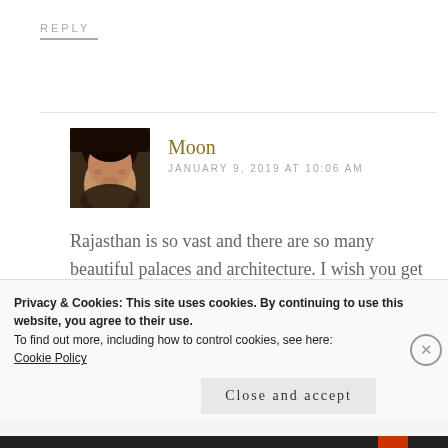REPLY
Moon
JANUARY 9, 2019 AT 10:06 AM
Rajasthan is so vast and there are so many beautiful palaces and architecture. I wish you get to see all of them. Thank you for visiting my blog and sharing your
Privacy & Cookies: This site uses cookies. By continuing to use this website, you agree to their use.
To find out more, including how to control cookies, see here:
Cookie Policy
Close and accept